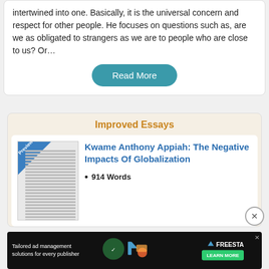intertwined into one. Basically, it is the universal concern and respect for other people. He focuses on questions such as, are we as obligated to strangers as we are to people who are close to us? Or…
Read More
Improved Essays
Kwame Anthony Appiah: The Negative Impacts Of Globalization
914 Words
[Figure (screenshot): Advertisement banner for Freestar tailored ad management solutions for every publisher with a Learn More button]